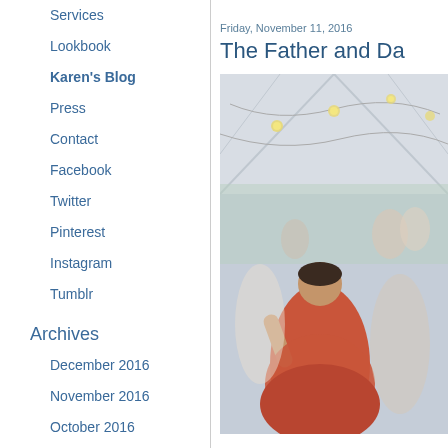Services
Lookbook
Karen's Blog
Press
Contact
Facebook
Twitter
Pinterest
Instagram
Tumblr
Archives
December 2016
November 2016
October 2016
September 2016
Friday, November 11, 2016
The Father and Da…
[Figure (photo): Wedding reception photo showing people dancing under a tent with string lights hanging from the ceiling. A woman in a red/coral dress is visible in the foreground with other guests.]